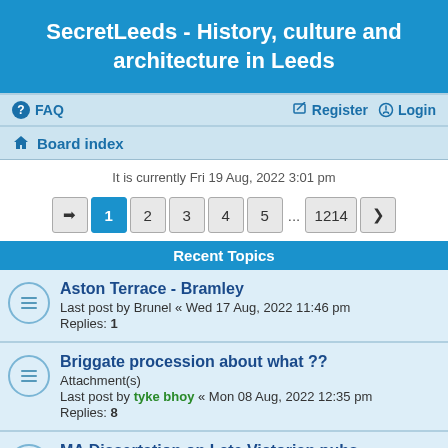SecretLeeds - History, culture and architecture in Leeds
FAQ  Register  Login
Board index
It is currently Fri 19 Aug, 2022 3:01 pm
Recent Topics
Aston Terrace - Bramley
Last post by Brunel « Wed 17 Aug, 2022 11:46 pm
Replies: 1
Briggate procession about what ??
Attachment(s)
Last post by tyke bhoy « Mon 08 Aug, 2022 12:35 pm
Replies: 8
MA Dissertation on Late Victorian pubs - stories please!
Last post by chemimike « Sun 24 Jul, 2022 6:44 pm
Replies: 7